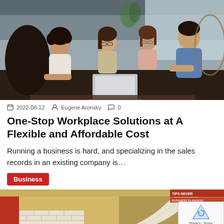[Figure (photo): Four people (three women and one man) sitting and collaborating around a laptop in a modern lounge/cafe setting]
2022-08-12   Eugene Aronsky   0
One-Stop Workplace Solutions at A Flexible and Affordable Cost
Running a business is hard, and specializing in the sales records in an existing company is…
Business
[Figure (photo): Partial view of books and a shop interior with brick walls and signage at the bottom of the page]